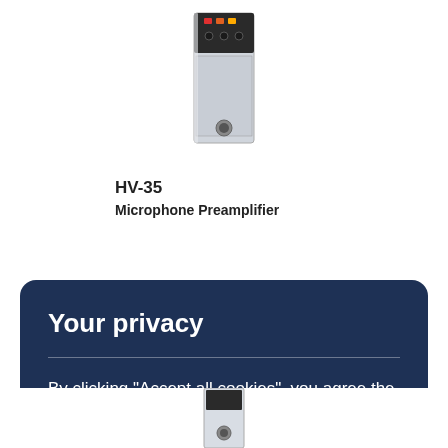[Figure (photo): HV-35 Microphone Preamplifier product hardware unit, shown as a rackmount module with red and orange connectors at top]
HV-35
Microphone Preamplifier
Your privacy
By clicking "Accept all cookies", you agree the website can store cookies on your device and disclose information in accordance with our terms.
[Figure (photo): Bottom portion of another product unit, partially visible at the bottom of the page]